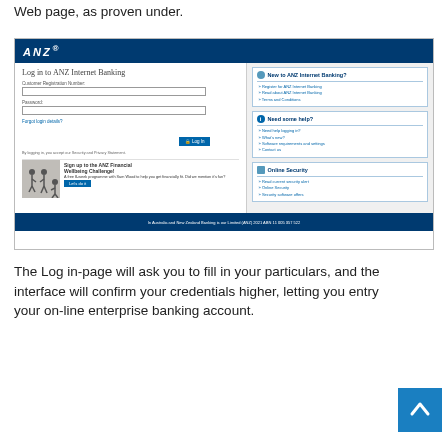Web page, as proven under.
[Figure (screenshot): ANZ Internet Banking login page screenshot showing the ANZ logo in a dark blue header, a login form with Customer Registration Number and Password fields, a Log In button, forgot login details link, a Sign up to the ANZ Financial Wellbeing Challenge promotion with fitness imagery, and a right sidebar with sections for New to ANZ Internet Banking, Need some help, and Online Security with relevant links. A dark blue footer bar at the bottom shows legal text.]
The Log in-page will ask you to fill in your particulars, and the interface will confirm your credentials higher, letting you entry your on-line enterprise banking account.